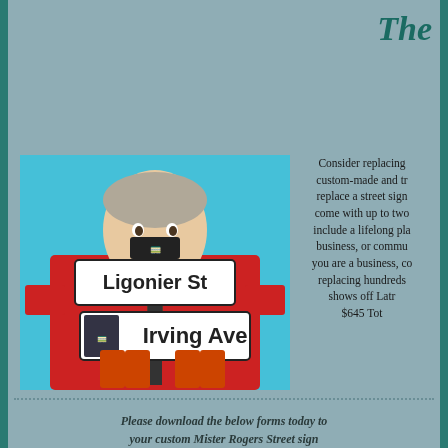The
[Figure (photo): Mister Rogers holding street signs showing Ligonier St and Irving Ave with a trolley icon, against a blue background]
Consider replacing custom-made and tr replace a street sign come with up to two include a lifelong pla business, or commu you are a business, c replacing hundreds shows off Latr $645 Tot
Please download the below forms today to your custom Mister Rogers Street sign